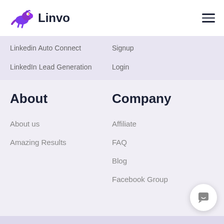Linvo
Linkedin Auto Connect
Signup
LinkedIn Lead Generation
Login
About
Company
About us
Affiliate
Amazing Results
FAQ
Blog
Facebook Group